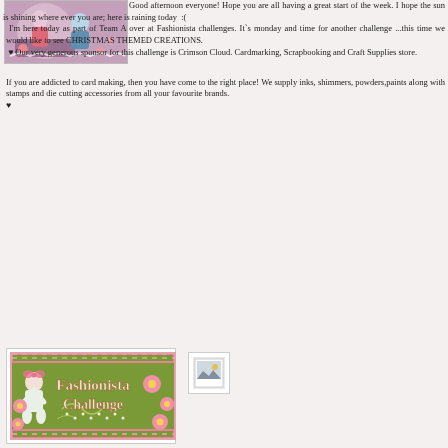[Figure (illustration): Decorative craft/Christmas image showing dolls or figurines with pink background]
Good afternoon everyone! Hope you are all having a great start of the week. I hope the sun is shining where ever you are; here is raining today  :(
  I'm here today as part of Team A over at Fashionista challenges. It`s monday and time for another challenge ...this time we would like to see CHRISTMAS THEMED CREATIONS.
 ♥ Our very generous sponsor for this challenge is Crimson Cloud. Cardmarking, Scrapbooking and Craft Supplies store.

If you are addicted to card making, then you have come to the right place! We supply inks, shimmers, powders,paints along with stamps and die cutting accessories from all your favourite brands.
♥
[Figure (illustration): Fashionista Challenge banner with green background, doll figure, pink flowers, and decorative text]
[Figure (other): Small image placeholder/thumbnail]